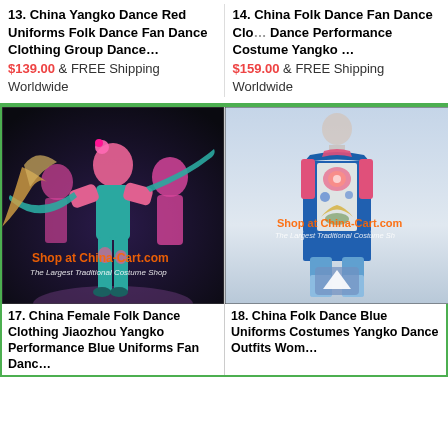13. China Yangko Dance Red Uniforms Folk Dance Fan Dance Clothing Group Dance…
$139.00 & FREE Shipping Worldwide
14. China Folk Dance Fan Dance Clothing Dance Performance Costume Yangko…
$159.00 & FREE Shipping Worldwide
[Figure (photo): Chinese female dancers in teal and pink Yangko folk dance costumes with fans, jumping on stage. Watermark: Shop at China-Cart.com, The Largest Traditional Costume Shop]
[Figure (photo): Chinese folk dance blue uniform costume displayed on mannequin — blue top with pink trim and floral embroidery, light blue pants. Watermark: Shop at China-Cart.com]
17. China Female Folk Dance Clothing Jiaozhou Yangko Performance Blue Uniforms Fan Danc…
18. China Folk Dance Blue Uniforms Costumes Yangko Dance Outfits Wom…